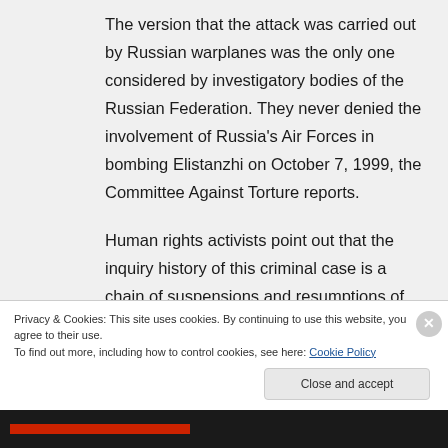The version that the attack was carried out by Russian warplanes was the only one considered by investigatory bodies of the Russian Federation. They never denied the involvement of Russia's Air Forces in bombing Elistanzhi on October 7, 1999, the Committee Against Torture reports.
Human rights activists point out that the inquiry history of this criminal case is a chain of suspensions and resumptions of
Privacy & Cookies: This site uses cookies. By continuing to use this website, you agree to their use.
To find out more, including how to control cookies, see here: Cookie Policy
Close and accept